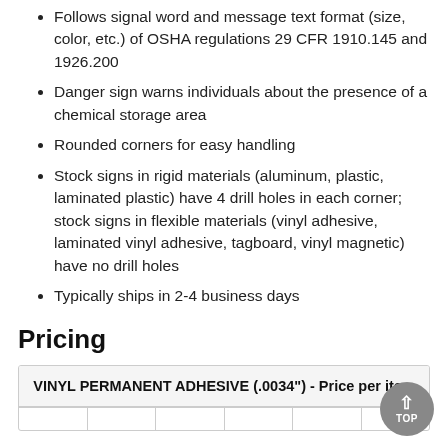Follows signal word and message text format (size, color, etc.) of OSHA regulations 29 CFR 1910.145 and 1926.200
Danger sign warns individuals about the presence of a chemical storage area
Rounded corners for easy handling
Stock signs in rigid materials (aluminum, plastic, laminated plastic) have 4 drill holes in each corner; stock signs in flexible materials (vinyl adhesive, laminated vinyl adhesive, tagboard, vinyl magnetic) have no drill holes
Typically ships in 2-4 business days
Pricing
| VINYL PERMANENT ADHESIVE (.0034") - Price per item |
| --- |
|  |  |  |  |  |  |